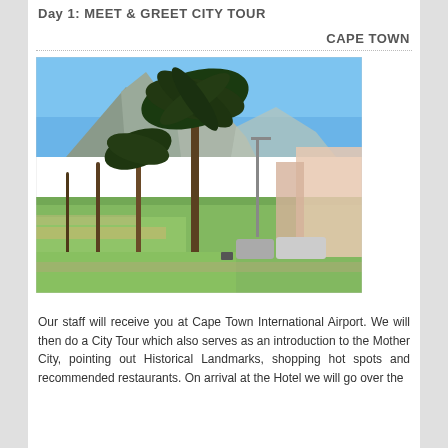Day 1: MEET & GREET CITY TOUR
CAPE TOWN
[Figure (photo): Outdoor photo of Cape Town showing palm trees lining a green park/promenade with Lion's Head mountain in the background under a clear blue sky. Buildings and vehicles visible on the right side.]
Our staff will receive you at Cape Town International Airport. We will then do a City Tour which also serves as an introduction to the Mother City, pointing out Historical Landmarks, shopping hot spots and recommended restaurants. On arrival at the Hotel we will go over the itinerary with you.